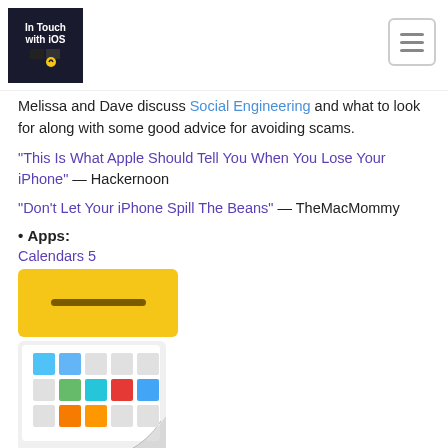In Touch with iOS
Melissa and Dave discuss Social Engineering and what to look for along with some good advice for avoiding scams.
"This Is What Apple Should Tell You When You Lose Your iPhone" — Hackernoon
"Don't Let Your iPhone Spill The Beans" — TheMacMommy
• Apps:
Calendars 5
[Figure (illustration): Yellow app icon with a dark horizontal dash/bar in the center]
[Figure (illustration): Calendars 5 app icon showing a calendar grid with colored squares (blue, green, teal, red, orange) on a white background with a page-curl effect]
Melissa uses Siri a lot. It even plays "Bad Cop" in parenting scenarios.